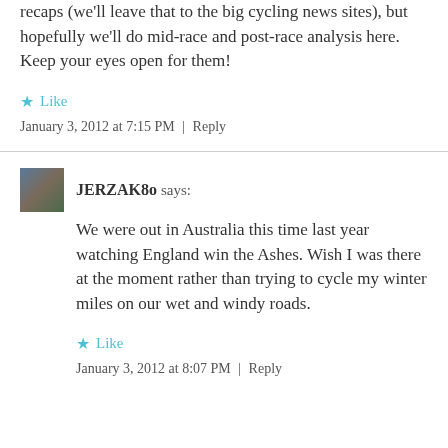recaps (we'll leave that to the big cycling news sites), but hopefully we'll do mid-race and post-race analysis here. Keep your eyes open for them!
★ Like
January 3, 2012 at 7:15 PM | Reply
JERZAK80 says:
We were out in Australia this time last year watching England win the Ashes. Wish I was there at the moment rather than trying to cycle my winter miles on our wet and windy roads.
★ Like
January 3, 2012 at 8:07 PM | Reply